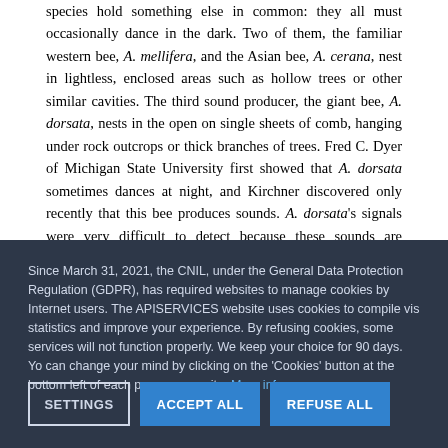species hold something else in common: they all must occasionally dance in the dark. Two of them, the familiar western bee, A. mellifera, and the Asian bee, A. cerana, nest in lightless, enclosed areas such as hollow trees or other similar cavities. The third sound producer, the giant bee, A. dorsata, nests in the open on single sheets of comb, hanging under rock outcrops or thick branches of trees. Fred C. Dyer of Michigan State University first showed that A. dorsata sometimes dances at night, and Kirchner discovered only recently that this bee produces sounds. A. dorsata's signals were very difficult to detect because these sounds are particularly low in pitch.
The single species that dances silently, the dwarf bee, A. fiorea, dances in the open like A. dorsata, but only during the day. Dancers of
Since March 31, 2021, the CNIL, under the General Data Protection Regulation (GDPR), has required websites to manage cookies by Internet users. The APISERVICES website uses cookies to compile visit statistics and improve your experience. By refusing cookies, some services will not function properly. We keep your choice for 90 days. You can change your mind by clicking on the 'Cookies' button at the bottom left of each page on our site. More info